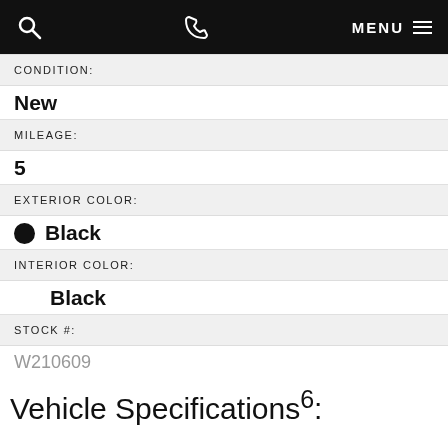Search | Phone | MENU
CONDITION:
New
MILEAGE:
5
EXTERIOR COLOR:
Black
INTERIOR COLOR:
Black
STOCK #:
W210609
Vehicle Specifications6: